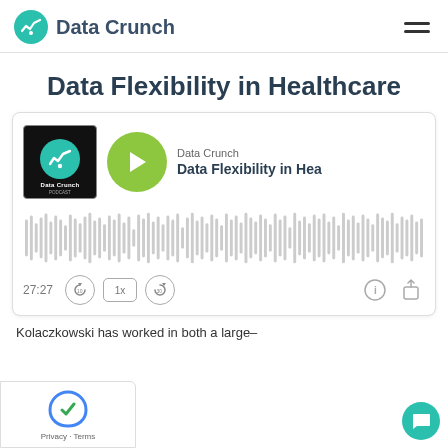Data Crunch
Data Flexibility in Healthcare
[Figure (screenshot): Podcast player widget showing Data Crunch podcast episode 'Data Flexibility in Healthcare', with album art, green play button, waveform visualizer, playback controls showing 27:27, speed 1x, skip buttons, and info/share icons]
Kolaczkowski has worked in both a large-